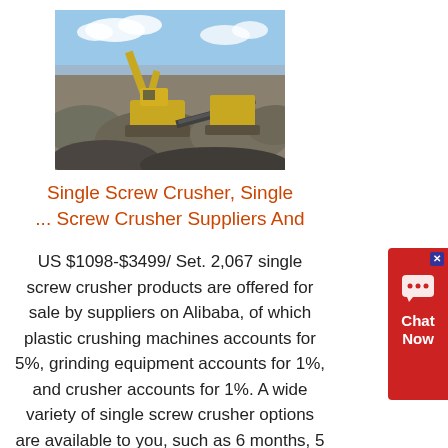[Figure (photo): Photograph of a yellow excavator and crushing machinery operating at a quarry or mining site with rocky terrain and sky in background]
Single Screw Crusher, Single ... Screw Crusher Suppliers And
US $1098-$3499/ Set. 2,067 single screw crusher products are offered for sale by suppliers on Alibaba, of which plastic crushing machines accounts for 5%, grinding equipment accounts for 1%, and crusher accounts for 1%. A wide variety of single screw crusher options are available to you, such as 6 months, 5 years
[Figure (other): Red chat widget button on right side with X close button, speech bubble icon, and Chat Now text]